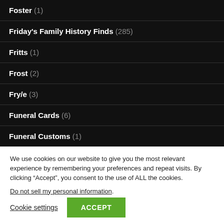Foster (1)
Friday's Family History Finds (285)
Fritts (1)
Frost (2)
Fry/e (3)
Funeral Cards (6)
Funeral Customs (1)
We use cookies on our website to give you the most relevant experience by remembering your preferences and repeat visits. By clicking “Accept”, you consent to the use of ALL the cookies.
Do not sell my personal information.
Cookie settings   ACCEPT